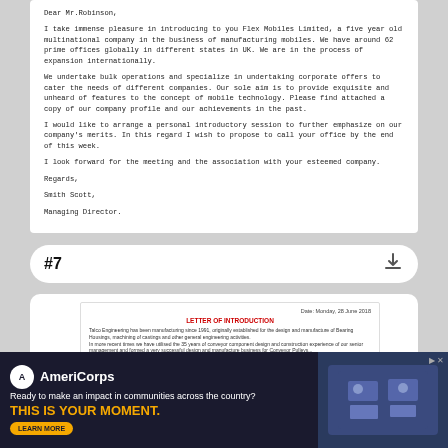Dear Mr.Robinson,

I take immense pleasure in introducing to you Flex Mobiles Limited, a five year old multinational company in the business of manufacturing mobiles. We have around 62 prime offices globally in different states in UK. We are in the process of expansion internationally.

We undertake bulk operations and specialize in undertaking corporate offers to cater the needs of different companies. Our sole aim is to provide exquisite and unheard of features to the concept of mobile technology. Please find attached a copy of our company profile and our achievements in the past.

I would like to arrange a personal introductory session to further emphasize on our company's merits. In this regard I wish to propose to call your office by the end of this week.

I look forward for the meeting and the association with your esteemed company.

Regards,

Smith Scott,

Managing Director.
#7
[Figure (screenshot): Preview of a Letter of Introduction document from Talco Engineering, dated Monday, 28 June 2018, with red title 'LETTER OF INTRODUCTION' and body text about manufacturing since 1991.]
[Figure (photo): AmeriCorps advertisement banner: 'Ready to make an impact in communities across the country? THIS IS YOUR MOMENT.' with Learn More button and image of people at computers.]